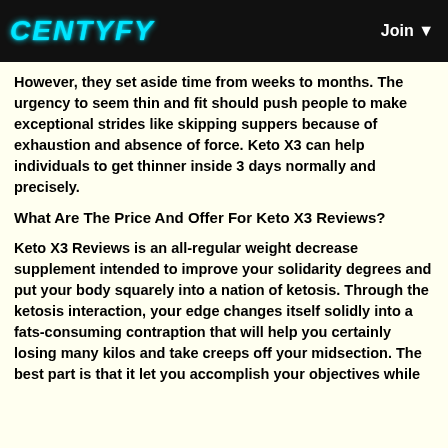CENTYFY | Join
However, they set aside time from weeks to months. The urgency to seem thin and fit should push people to make exceptional strides like skipping suppers because of exhaustion and absence of force. Keto X3 can help individuals to get thinner inside 3 days normally and precisely.
What Are The Price And Offer For Keto X3 Reviews?
Keto X3 Reviews is an all-regular weight decrease supplement intended to improve your solidarity degrees and put your body squarely into a nation of ketosis. Through the ketosis interaction, your edge changes itself solidly into a fats-consuming contraption that will help you certainly losing many kilos and take creeps off your midsection. The best part is that it let you accomplish your objectives while